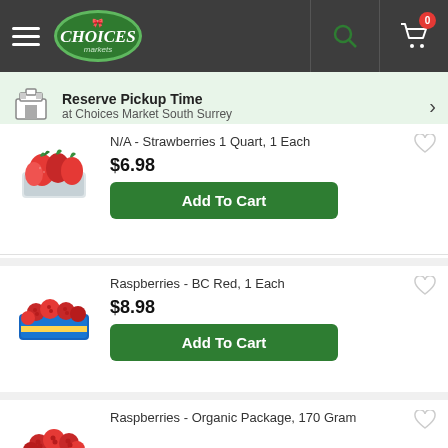[Figure (screenshot): Choices Markets navigation bar with hamburger menu, logo, search and cart icons]
Reserve Pickup Time at Choices Market South Surrey
N/A - Strawberries 1 Quart, 1 Each
$6.98
Add To Cart
Raspberries - BC Red, 1 Each
$8.98
Add To Cart
Raspberries - Organic Package, 170 Gram